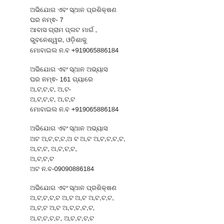ଅଭିଯୋଗ ଏବଂ ସ୍ଥାନ ପ୍ରଶିକ୍ଷଣ
ଘର ନମ୍ଵ- 7
ଆବାସ ଗ୍ରାମ ପ୍ଲଟ ମାର୍ଗ ,
ଭୁବନେଶ୍ୱର, ଓଡ଼ିଶାକୁ
ମୋବାଇଲ ନ.ବ +919065886184
ଅଭିଯୋଗ ଏବଂ ସ୍ଥାନ ଅଭ୍ୟାସ
ଘର ନମ୍ଵ- 161 ଗ୍ୟାରେ
କଡ଼ାଗ,ୱ, ଶ୍ରୋ-
ଯୋଧ,ୱ, ଯ,ୟ
ମୋବାଇଲ ନ.ବ +919065886184
ଅଭିଯୋଗ ଏବଂ ସ୍ଥାନ ଅଭ୍ୟାସ
ଅଟ ଅଟ,ଟ,ଟ,ଅ,ଟ ଟ ଟ,ଟ ଅ,ଟ,ଟ,ଟ,ଟ,
ଅ,ଟ,
ଅ,ଟ,ଟ,ଟ,
ଅ,ଟ,
ଅଟ ନ.ବ-09090886184
ଅଭିଯୋଗ ଏବଂ ସ୍ଥାନ ପ୍ରଶିକ୍ଷଣ
ଅ,ଟ,ଟ,ଟ,ଟ ଅ,ଟ ଅ,ଟ ଅ,ଟ,ଟ,ଟ,
ଅ,ଟ,ଟ ଅ,ଟ ଅ,ଟ,ଟ,ଟ,ଟ,
ଅ,ଟ,ଟ,ଟ,ଟ, ଅ,ଟ,ଟ,ଟ,ଟ